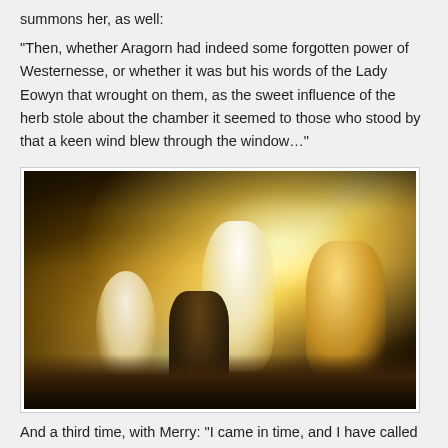summons her, as well:
“Then, whether Aragorn had indeed some forgotten power of Westernesse, or whether it was but his words of the Lady Eowyn that wrought on them, as the sweet influence of the herb stole about the chamber it seemed to those who stood by that a keen wind blew through the window…”
[Figure (illustration): Fantasy oil painting depicting a healing scene in a stone chamber. Bright divine light radiates from the center-right. Tall white-robed figures (likely Gandalf and Aragorn) stand over a figure in bed. A dark-armored figure (Merry or Eowyn) kneels nearby. Warm golden and white light fills the scene dramatically against dark stone arched backgrounds.]
And a third time, with Merry: “I came in time, and I have called him back.”